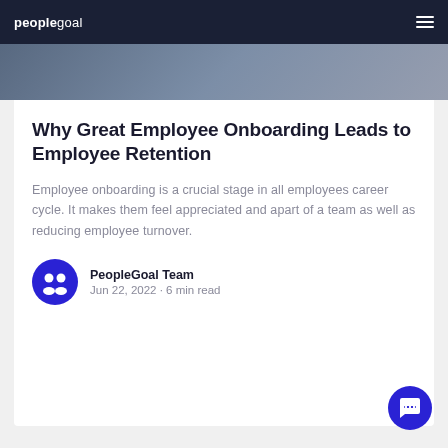peoplegoal
[Figure (photo): Partial hero image showing people in a professional setting, cropped]
Why Great Employee Onboarding Leads to Employee Retention
Employee onboarding is a crucial stage in all employees career cycle. It makes them feel appreciated and apart of a team as well as reducing employee turnover.
PeopleGoal Team
Jun 22, 2022 · 6 min read